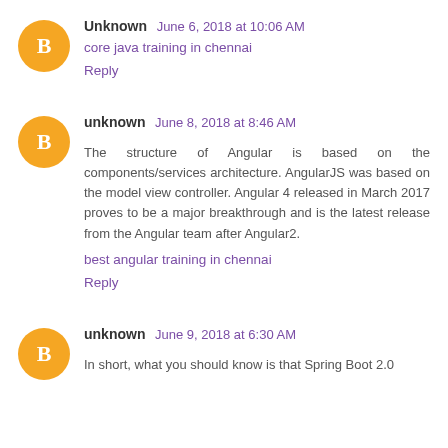Unknown June 6, 2018 at 10:06 AM
core java training in chennai
Reply
unknown June 8, 2018 at 8:46 AM
The structure of Angular is based on the components/services architecture. AngularJS was based on the model view controller. Angular 4 released in March 2017 proves to be a major breakthrough and is the latest release from the Angular team after Angular2.
best angular training in chennai
Reply
unknown June 9, 2018 at 6:30 AM
In short, what you should know is that Spring Boot 2.0 ...